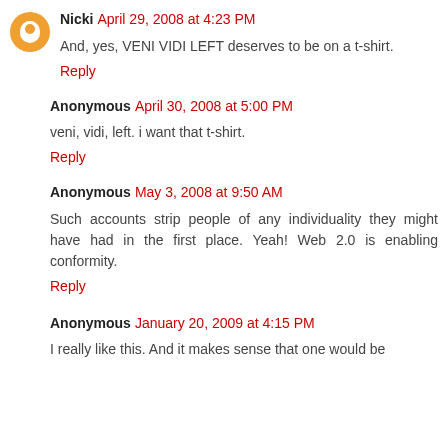Nicki April 29, 2008 at 4:23 PM
And, yes, VENI VIDI LEFT deserves to be on a t-shirt.
Reply
Anonymous April 30, 2008 at 5:00 PM
veni, vidi, left. i want that t-shirt.
Reply
Anonymous May 3, 2008 at 9:50 AM
Such accounts strip people of any individuality they might have had in the first place. Yeah! Web 2.0 is enabling conformity.
Reply
Anonymous January 20, 2009 at 4:15 PM
I really like this. And it makes sense that one would be